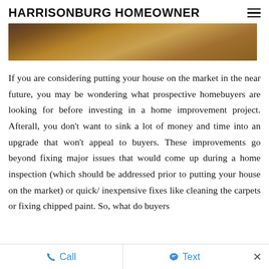HARRISONBURG HOMEOWNER
[Figure (photo): Partial hero image showing a person outdoors with warm golden and brown tones]
If you are considering putting your house on the market in the near future, you may be wondering what prospective homebuyers are looking for before investing in a home improvement project. Afterall, you don't want to sink a lot of money and time into an upgrade that won't appeal to buyers. These improvements go beyond fixing major issues that would come up during a home inspection (which should be addressed prior to putting your house on the market) or quick/ inexpensive fixes like cleaning the carpets or fixing chipped paint. So, what do buyers...
Call   Text